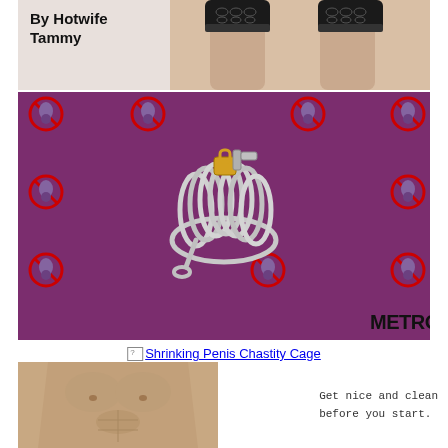[Figure (photo): Top image showing legs in black lace stockings with text 'By Hotwife Tammy' on left]
[Figure (photo): Purple background image with emoji eggplant/no-sign pattern and a metal chastity cage device in center, with Metro.co.uk watermark]
Shrinking Penis Chastity Cage
[Figure (photo): Male torso photo (cropped, no head)]
Get nice and clean
before you start.